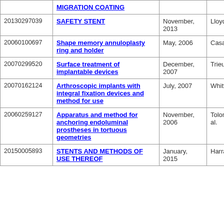|  |  |  |  |
| --- | --- | --- | --- |
|  | MIGRATION COATING |  |  |
| 20130297039 | SAFETY STENT | November, 2013 | Lloyd |
| 20060100697 | Shape memory annuloplasty ring and holder | May, 2006 | Casanova |
| 20070299520 | Surface treatment of implantable devices | December, 2007 | Trieu et al. |
| 20070162124 | Arthroscopic implants with integral fixation devices and method for use | July, 2007 | Whittaker |
| 20060259127 | Apparatus and method for anchoring endoluminal prostheses in tortuous geometries | November, 2006 | Tolomeo et al. |
| 20150005893 | STENTS AND METHODS OF USE THEREOF | January, 2015 | Harrah et al. |